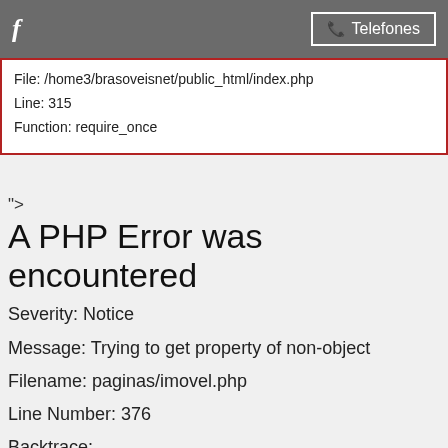f   Telefones
File: /home3/brasoveisnet/public_html/index.php
Line: 315
Function: require_once
">
A PHP Error was encountered
Severity: Notice
Message: Trying to get property of non-object
Filename: paginas/imovel.php
Line Number: 376
Backtrace:
File:
/home3/brasoveisnet/public_html/application/views/paginas/im